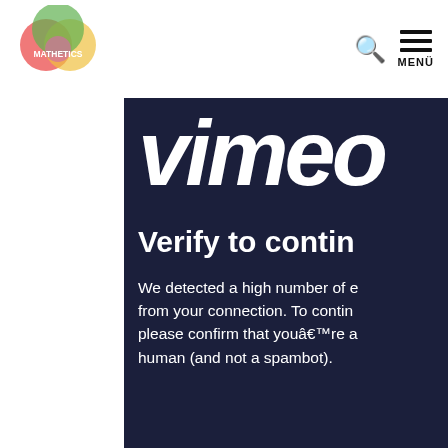MATHETICS | MENÜ
[Figure (screenshot): Vimeo verification page overlay on dark navy background showing Vimeo logo, 'Verify to contin...' heading, and message about high number of errors from connection asking user to confirm they are human and not a spambot.]